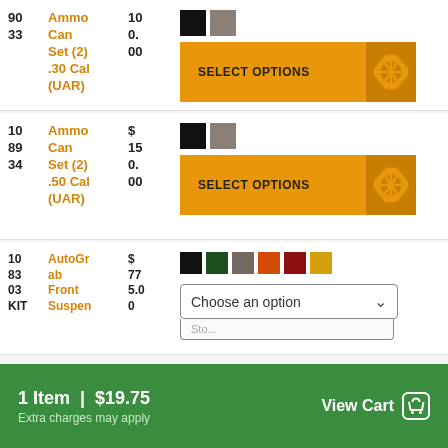| ID | Product | Price | Options |
| --- | --- | --- | --- |
| 90
33 | Ammo Can Set (2) .30 Cal (UAR) | $ 10 0.00 | SELECT OPTIONS |
| 10
89
34 | Ammo Can Set (2) .50 Cal (UAR) | $ 15 0.00 | SELECT OPTIONS |
| 10
83
03
KIT | AutoGrab Front Suspen... | $ 77 5.00 | Choose an option |
1 Item | $19.75
Extra charges may apply
View Cart